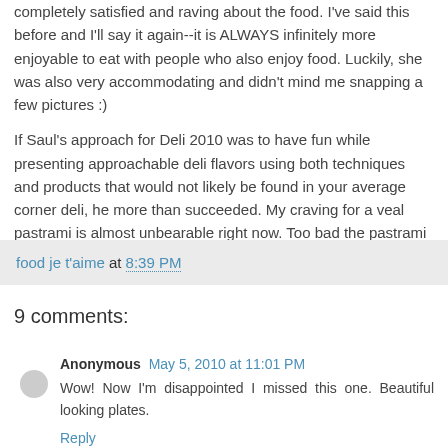completely satisfied and raving about the food. I've said this before and I'll say it again--it is ALWAYS infinitely more enjoyable to eat with people who also enjoy food. Luckily, she was also very accommodating and didn't mind me snapping a few pictures :)
If Saul's approach for Deli 2010 was to have fun while presenting approachable deli flavors using both techniques and products that would not likely be found in your average corner deli, he more than succeeded. My craving for a veal pastrami is almost unbearable right now. Too bad the pastrami at the corner deli can't even compare.
food je t'aime at 8:39 PM
9 comments:
Anonymous May 5, 2010 at 11:01 PM
Wow! Now I'm disappointed I missed this one. Beautiful looking plates.
Reply